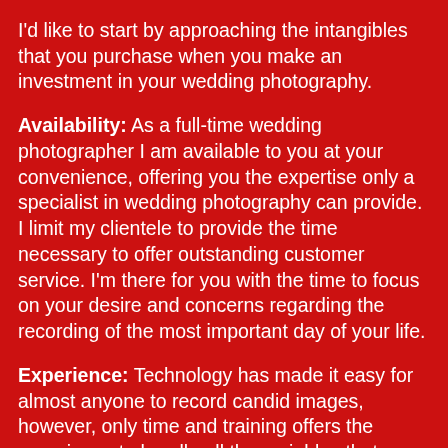I'd like to start by approaching the intangibles that you purchase when you make an investment in your wedding photography.
Availability: As a full-time wedding photographer I am available to you at your convenience, offering you the expertise only a specialist in wedding photography can provide. I limit my clientele to provide the time necessary to offer outstanding customer service. I'm there for you with the time to focus on your desire and concerns regarding the recording of the most important day of your life.
Experience: Technology has made it easy for almost anyone to record candid images, however, only time and training offers the experience to handle all the variables that come up not only on the big day but challenges that come up both before and after your wedding. I bring to the table 20 years of award-winning wedding photography experience. These years that I have successfully worked in this field is an assurance of not only candids that truly capture the moment, but training in formal photography means speedy and well